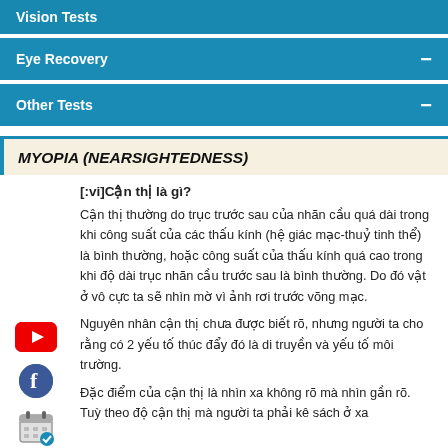Vision Tests
Eye Recovery
Other Tests
MYOPIA (NEARSIGHTEDNESS)
[:vi]Cận thị là gì?
Cận thị thường do trục trước sau của nhãn cầu quá dài trong khi công suất của các thấu kính (hệ giác mạc-thuỷ tinh thể) là bình thường, hoặc công suất của thấu kính quá cao trong khi độ dài trục nhãn cầu trước sau là bình thường. Do đó vật ở vô cực ta sẽ nhìn mờ vì ảnh rơi trước võng mạc.
Nguyên nhân cận thị chưa được biết rõ, nhưng người ta cho rằng có 2 yếu tố thúc đẩy đó là di truyền và yếu tố môi trường.
Đặc điểm của cận thị là nhìn xa không rõ mà nhìn gần rõ. Tuỳ theo độ cận thị mà người ta phải kê sách ở xa